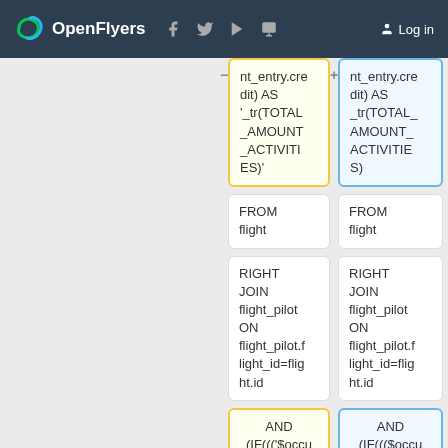OpenFlyers | Log in
[Figure (screenshot): Two-column SQL code comparison showing highlighted code blocks. Left column (yellow, with minus sign): nt_entry.credit) AS '_tr(TOTAL_AMOUNT_ACTIVITIES)' | Right column (blue, with plus sign): nt_entry.credit) AS _tr(TOTAL_AMOUNT_ACTIVITIES). Second row both columns: FROM flight. Third row both columns: RIGHT JOIN flight_pilot ON flight_pilot.flight_id=flight.id. Fourth row left (yellow): AND (IF((('$occupiedSeat'=  | right (blue): AND (IF((($occupiedSeat=0]